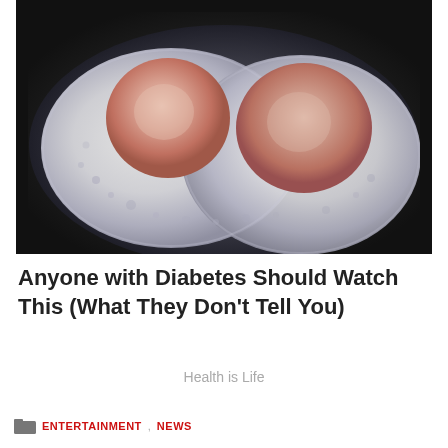[Figure (photo): Close-up photo of two sunny-side-up fried eggs cooking in a pan, with sizzling white egg whites and pale pink-orange yolks, bubbling oil around the edges on a dark background.]
Anyone with Diabetes Should Watch This (What They Don't Tell You)
Health is Life
ENTERTAINMENT , NEWS